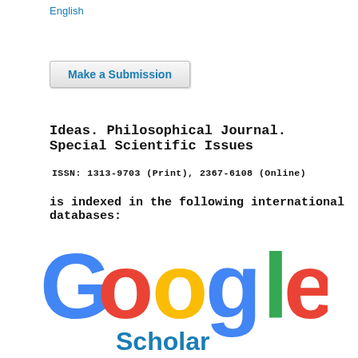English
Make a Submission
Ideas. Philosophical Journal. Special Scientific Issues
ISSN:  1313-9703 (Print), 2367-6108 (Online)
is indexed in the following international databases:
[Figure (logo): Google Scholar logo with colorful Google lettering and blue Scholar text below]